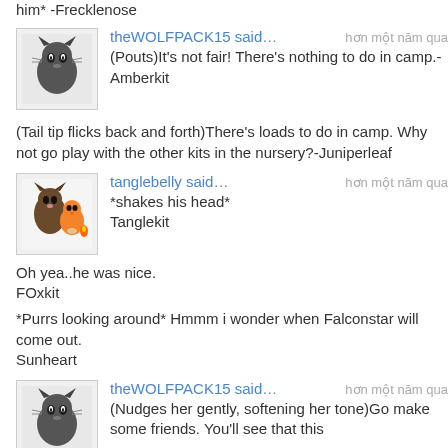him* -Frecklenose
theWOLFPACK15 said… hơn một năm qua
(Pouts)It's not fair! There's nothing to do in camp.-Amberkit
(Tail tip flicks back and forth)There's loads to do in camp. Why not go play with the other kits in the nursery?-Juniperleaf
tanglebelly said… hơn một năm qua
*shakes his head*
Tanglekit
Oh yea..he was nice.
FOxkit
*Purrs looking around* Hmmm i wonder when Falconstar will come out.
Sunheart
theWOLFPACK15 said… hơn một năm qua
(Nudges her gently, softening her tone)Go make some friends. You'll see that this